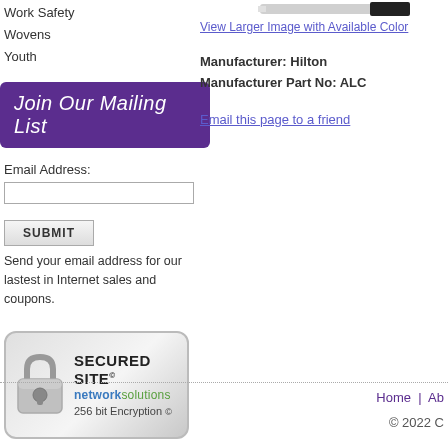Work Safety
Wovens
Youth
[Figure (screenshot): Product image (pen/marker, cropped at top)]
View Larger Image with Available Color
Manufacturer: Hilton
Manufacturer Part No: ALC
Email this page to a friend
Join Our Mailing List
Email Address:
SUBMIT
Send your email address for our lastest in Internet sales and coupons.
[Figure (logo): Secured Site - Network Solutions 256 bit Encryption badge with padlock icon]
Home | Ab
© 2022 C